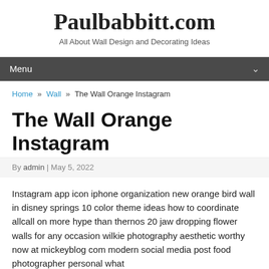Paulbabbitt.com
All About Wall Design and Decorating Ideas
Menu
Home » Wall » The Wall Orange Instagram
The Wall Orange Instagram
By admin | May 5, 2022
Instagram app icon iphone organization new orange bird wall in disney springs 10 color theme ideas how to coordinate allcall on more hype than thernos 20 jaw dropping flower walls for any occasion wilkie photography aesthetic worthy now at mickeyblog com modern social media post food photographer personal what